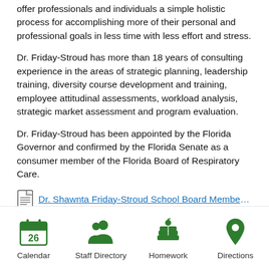offer professionals and individuals a simple holistic process for accomplishing more of their personal and professional goals in less time with less effort and stress.
Dr. Friday-Stroud has more than 18 years of consulting experience in the areas of strategic planning, leadership training, diversity course development and training, employee attitudinal assessments, workload analysis, strategic market assessment and program evaluation.
Dr. Friday-Stroud has been appointed by the Florida Governor and confirmed by the Florida Senate as a consumer member of the Florida Board of Respiratory Care.
Dr. Shawnta Friday-Stroud School Board Member B...
[Figure (infographic): Footer navigation icons: Calendar (green calendar icon showing 26), Staff Directory (green people icon), Homework (green books icon), Directions (green map pin icon)]